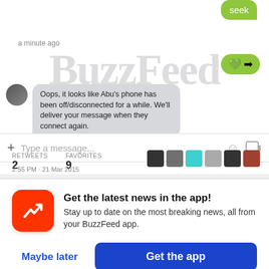[Figure (screenshot): Screenshot of a mobile messaging app showing a chat conversation with a green sent bubble (partially visible text), a timestamp 'a minute ago', another green bubble with heart and arrow emoji, a gray received system message bubble saying 'Oops, it looks like Abu's phone has been off/disconnected for a while. We'll deliver your message when they connect again.', and a message input bar with 'Type a message...' placeholder. Below is a Twitter-like footer showing RETWEETS: 2, FAVORITES: 9, six small user avatars, and a timestamp '2:55 PM - 21 Mar 2015'. A BuzzFeed News watermark is overlaid on the screenshot.]
Get the latest news in the app!
Stay up to date on the most breaking news, all from your BuzzFeed app.
Maybe later
Get the app